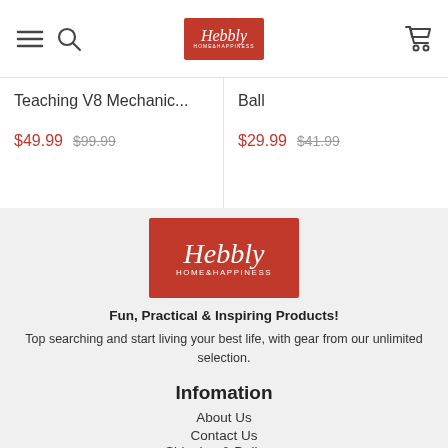Hebbly HOME&HAPPINESS header with menu, search, logo, cart
Teaching V8 Mechanic...
$49.99  $99.99
Ball
$29.99  $41.99
[Figure (logo): Hebbly HOME&HAPPINESS logo on red background]
Fun, Practical & Inspiring Products!
Top searching and start living your best life, with gear from our unlimited selection.
Infomation
About Us
Contact Us
Shipping & Delivery